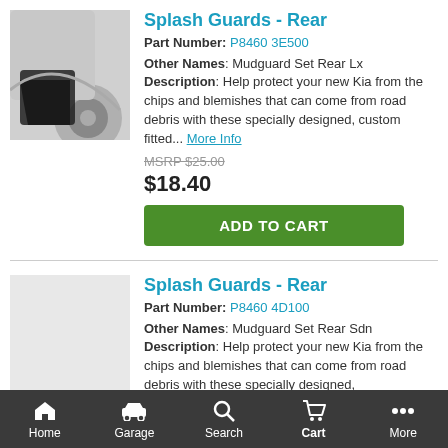Splash Guards - Rear
Part Number: P8460 3E500
Other Names: Mudguard Set Rear Lx
Description: Help protect your new Kia from the chips and blemishes that can come from road debris with these specially designed, custom fitted... More Info
MSRP $25.00
$18.40
ADD TO CART
[Figure (photo): Splash guard / mudguard black rubber flap on silver vehicle wheel well]
Splash Guards - Rear
Part Number: P8460 4D100
Other Names: Mudguard Set Rear Sdn
Description: Help protect your new Kia from the chips and blemishes that can come from road debris with these specially designed,
[Figure (photo): Placeholder image for second splash guard product]
Home  Garage  Search  Cart  More